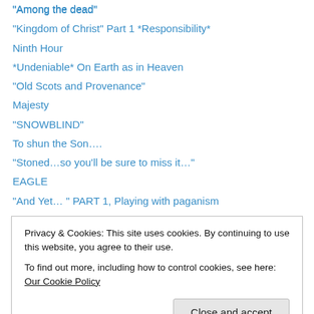“Among the dead”
“Kingdom of Christ” Part 1 *Responsibility*
Ninth Hour
*Undeniable* On Earth as in Heaven
“Old Scots and Provenance”
Majesty
“SNOWBLIND”
To shun the Son….
“Stoned…so you’ll be sure to miss it…”
EAGLE
“And Yet… ” PART 1, Playing with paganism
Just kinda like… MESSED UP…
“Playing the hand that is dealt…”
Privacy & Cookies: This site uses cookies. By continuing to use this website, you agree to their use.
To find out more, including how to control cookies, see here: Our Cookie Policy
Happy Thanksgiving